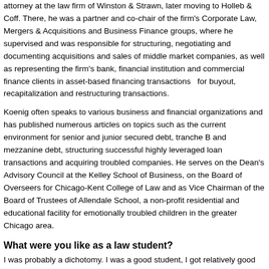attorney at the law firm of Winston & Strawn, later moving to Holleb & Coff. There, he was a partner and co-chair of the firm's Corporate Law, Mergers & Acquisitions and Business Finance groups, where he supervised and was responsible for structuring, negotiating and documenting acquisitions and sales of middle market companies, as well as representing the firm's bank, financial institution and commercial finance clients in asset-based financing transactions  for buyout, recapitalization and restructuring transactions.
Koenig often speaks to various business and financial organizations and has published numerous articles on topics such as the current environment for senior and junior secured debt, tranche B and mezzanine debt, structuring successful highly leveraged loan transactions and acquiring troubled companies. He serves on the Dean's Advisory Council at the Kelley School of Business, on the Board of Overseers for Chicago-Kent College of Law and as Vice Chairman of the Board of Trustees of Allendale School, a non-profit residential and educational facility for emotionally troubled children in the greater Chicago area.
What were you like as a law student?
I was probably a dichotomy. I was a good student, I got relatively good